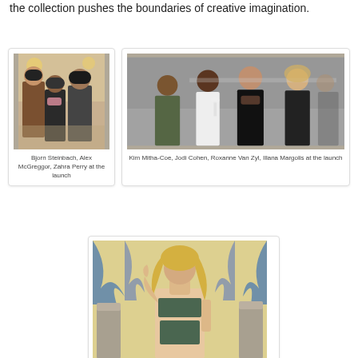the collection pushes the boundaries of creative imagination.
[Figure (photo): Bjorn Steinbach, Alex McGreggor, Zahra Perry at the launch — group photo of people at an event]
Bjorn Steinbach, Alex McGreggor, Zahra Perry at the launch
[Figure (photo): Kim Mitha-Coe, Jodi Cohen, Roxanne Van Zyl, Illana Margolis at the launch — four women posing at an event]
Kim Mitha-Coe, Jodi Cohen, Roxanne Van Zyl, Illana Margolis at the launch
[Figure (photo): A blonde woman in a swimsuit posing in a studio setting with blue curtains and yellow wall]